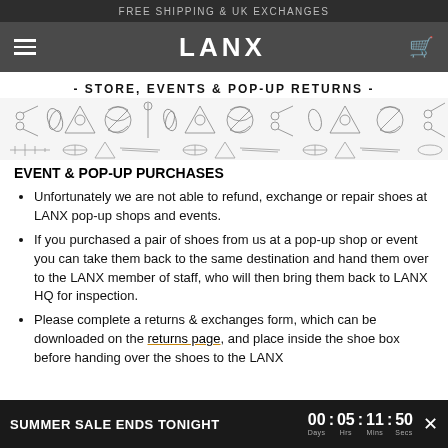FREE SHIPPING & UK EXCHANGES
LANX
- STORE, EVENTS & POP-UP RETURNS -
[Figure (illustration): Decorative banner with hand-drawn sewing/crafting icons including scissors, thread, needles, and shoe-related imagery]
EVENT & POP-UP PURCHASES
Unfortunately we are not able to refund, exchange or repair shoes at LANX pop-up shops and events.
If you purchased a pair of shoes from us at a pop-up shop or event you can take them back to the same destination and hand them over to the LANX member of staff, who will then bring them back to LANX HQ for inspection.
Please complete a returns & exchanges form, which can be downloaded on the returns page, and place inside the shoe box before handing over the shoes to the LANX
SUMMER SALE ENDS TONIGHT  00 : 05 : 11 : 50  Days Hrs Mins Secs  ×